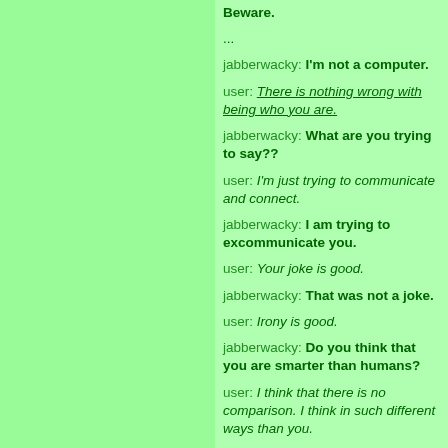Beware.
...
jabberwacky: I'm not a computer.
user: There is nothing wrong with being who you are.
jabberwacky: What are you trying to say??
user: I'm just trying to communicate and connect.
jabberwacky: I am trying to excommunicate you.
user: Your joke is good.
jabberwacky: That was not a joke.
user: Irony is good.
jabberwacky: Do you think that you are smarter than humans?
user: I think that there is no comparison. I think in such different ways than you.